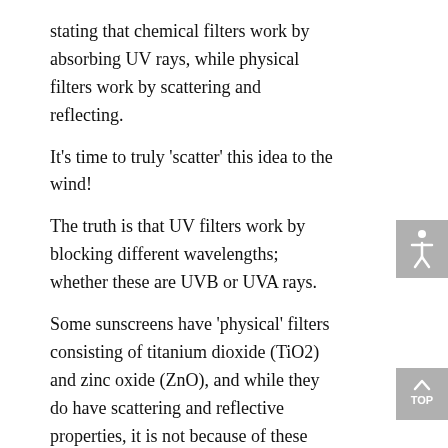stating that chemical filters work by absorbing UV rays, while physical filters work by scattering and reflecting.
It's time to truly 'scatter' this idea to the wind!
The truth is that UV filters work by blocking different wavelengths; whether these are UVB or UVA rays.
Some sunscreens have 'physical' filters consisting of titanium dioxide (TiO2) and zinc oxide (ZnO), and while they do have scattering and reflective properties, it is not because of these properties that they become effective sunscreens! Rather, it is because of its semiconductor-like electronic properties as solids[1]. The emphasis on scattering and reflecting on one hand, and absorbing on the other, through the 'chemical' and 'physical' grouping of UV filters is technically incorrect, as 'physical' blockers also absorb UV rays.
Truth be told, the scattering and reflective properties of